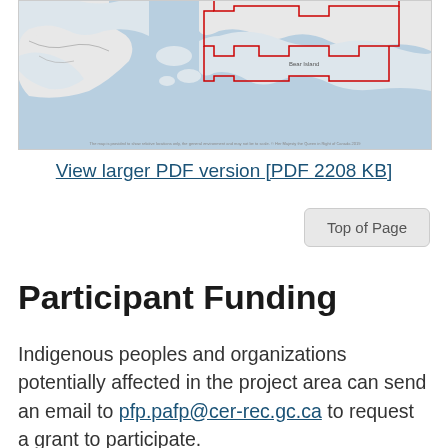[Figure (map): Topographic/geographic map showing a region with water bodies in blue-grey, land in white/light grey, and a red stepped boundary line indicating a project area. 'Bear Island' label visible in the center.]
View larger PDF version [PDF 2208 KB]
Top of Page
Participant Funding
Indigenous peoples and organizations potentially affected in the project area can send an email to pfp.pafp@cer-rec.gc.ca to request a grant to participate.